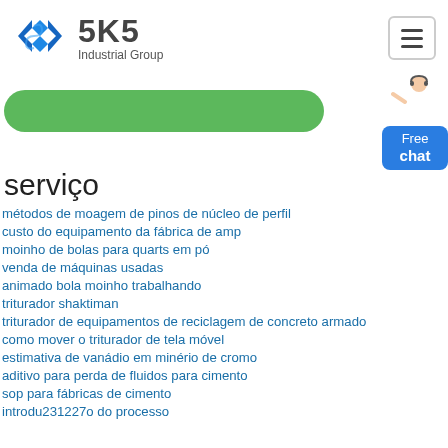SKS Industrial Group
[Figure (logo): SKS Industrial Group logo with blue angular S-shaped icon and bold SKS text with Industrial Group subtitle]
serviço
métodos de moagem de pinos de núcleo de perfil
custo do equipamento da fábrica de amp
moinho de bolas para quarts em pó
venda de máquinas usadas
animado bola moinho trabalhando
triturador shaktiman
triturador de equipamentos de reciclagem de concreto armado
como mover o triturador de tela móvel
estimativa de vanádio em minério de cromo
aditivo para perda de fluidos para cimento
sop para fábricas de cimento
introdu231227o do processo